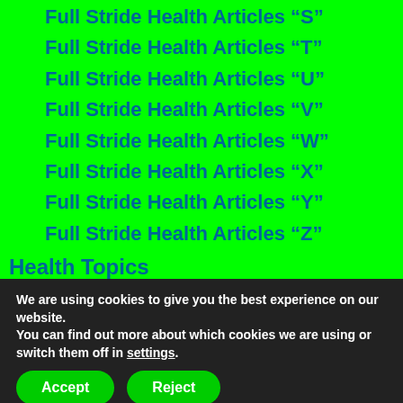Full Stride Health Articles “S”
Full Stride Health Articles “T”
Full Stride Health Articles “U”
Full Stride Health Articles “V”
Full Stride Health Articles “W”
Full Stride Health Articles “X”
Full Stride Health Articles “Y”
Full Stride Health Articles “Z”
Health Topics
Meet Our Authors At Full Stride Health
Privacy Policy
We are using cookies to give you the best experience on our website.
You can find out more about which cookies we are using or switch them off in settings.